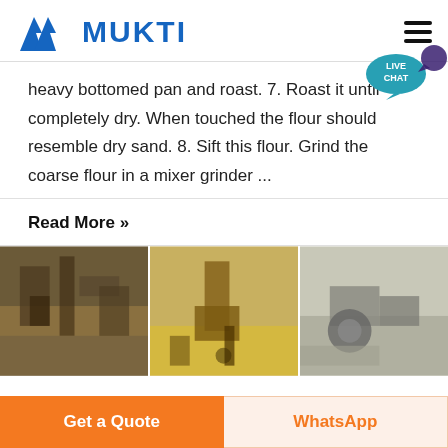MUKTI
heavy bottomed pan and roast. 7. Roast it until completely dry. When touched the flour should resemble dry sand. 8. Sift this flour. Grind the coarse flour in a mixer grinder ...
Read More »
[Figure (photo): Three industrial machinery/crusher equipment photos side by side]
Get a Quote
WhatsApp